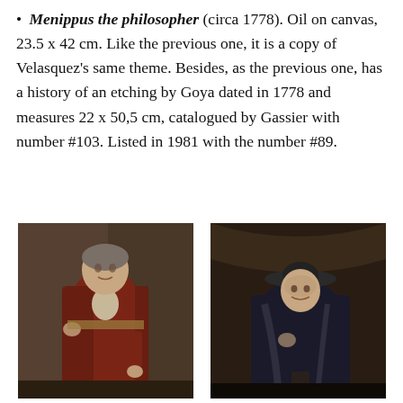Menippus the philosopher (circa 1778). Oil on canvas, 23.5 x 42 cm. Like the previous one, it is a copy of Velasquez's same theme. Besides, as the previous one, has a history of an etching by Goya dated in 1778 and measures 22 x 50,5 cm, catalogued by Gassier with number #103. Listed in 1981 with the number #89.
[Figure (photo): Painting of Menippus the philosopher in a red robe, standing figure, dark background]
[Figure (photo): Painting of a figure wearing a dark cloak and wide-brimmed hat, dark background]